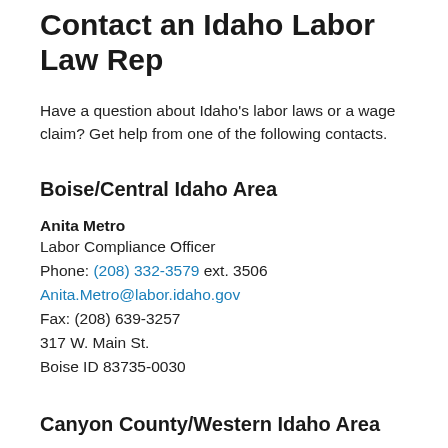Contact an Idaho Labor Law Rep
Have a question about Idaho's labor laws or a wage claim? Get help from one of the following contacts.
Boise/Central Idaho Area
Anita Metro
Labor Compliance Officer
Phone: (208) 332-3579 ext. 3506
Anita.Metro@labor.idaho.gov
Fax: (208) 639-3257
317 W. Main St.
Boise ID 83735-0030
Canyon County/Western Idaho Area